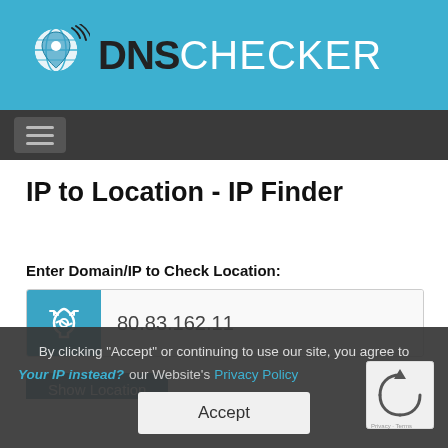[Figure (logo): DNS Checker logo with globe/pin icon, teal background header bar]
DNS CHECKER navigation bar with hamburger menu
IP to Location - IP Finder
Enter Domain/IP to Check Location:
80.83.162.11
By clicking "Accept" or continuing to use our site, you agree to
Your IP instead? our Website's Privacy Policy
Accept
Show Location